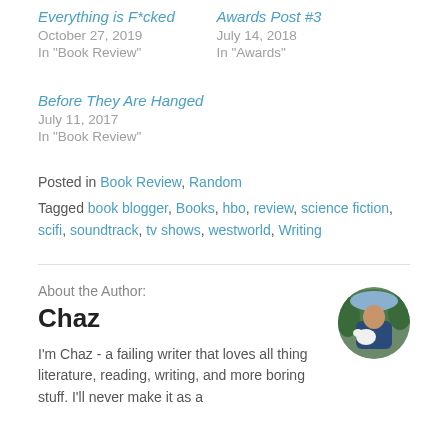Everything is F*cked
October 27, 2019
In "Book Review"
Awards Post #3
July 14, 2018
In "Awards"
Before They Are Hanged
July 11, 2017
In "Book Review"
Posted in Book Review, Random
Tagged book blogger, Books, hbo, review, science fiction, scifi, soundtrack, tv shows, westworld, Writing
About the Author:
Chaz
I'm Chaz - a failing writer that loves all thing literature, reading, writing, and more boring stuff. I'll never make it as a